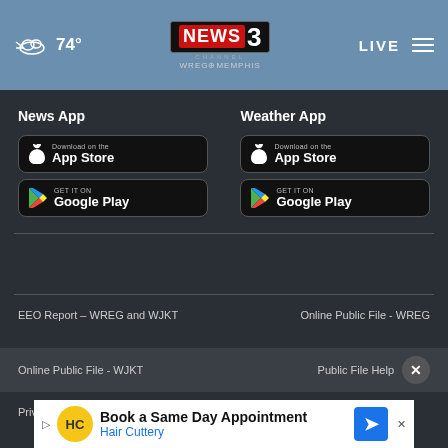74° NEWS CHANNEL 3 WREG MEMPHIS LIVE
News App
[Figure (screenshot): Download on the App Store button for News App]
[Figure (screenshot): GET IT ON Google Play button for News App]
Weather App
[Figure (screenshot): Download on the App Store button for Weather App]
[Figure (screenshot): GET IT ON Google Play button for Weather App]
EEO Report – WREG and WJKT
Online Public File - WREG
Online Public File - WJKT
Public File Help
Privacy
[Figure (screenshot): Hair Cuttery advertisement banner: Book a Same Day Appointment]